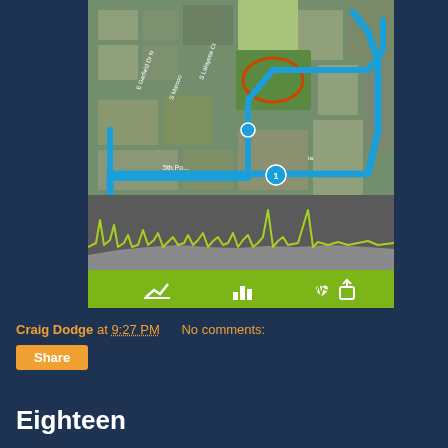[Figure (screenshot): Mobile fitness app screenshot showing a satellite map with a blue running route traced through a suburban area, an elevation/heart rate chart below the map, and a green toolbar with icons for stats, charts, heart rate, and share.]
Craig Dodge at 9:27 PM    No comments:
Share
Eighteen